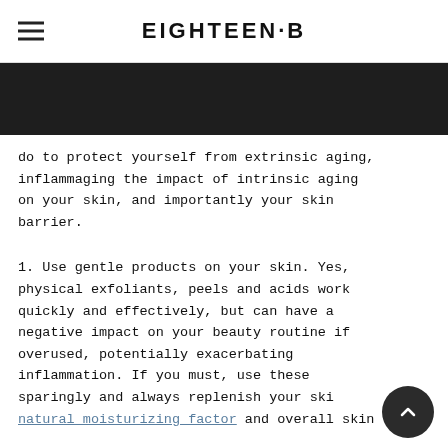EIGHTEEN·B
[Figure (photo): Dark/black banner image band]
do to protect yourself from extrinsic aging, inflammaging the impact of intrinsic aging on your skin, and importantly your skin barrier.
1. Use gentle products on your skin. Yes, physical exfoliants, peels and acids work quickly and effectively, but can have a negative impact on your beauty routine if overused, potentially exacerbating inflammation. If you must, use these sparingly and always replenish your skin natural moisturizing factor and overall skin